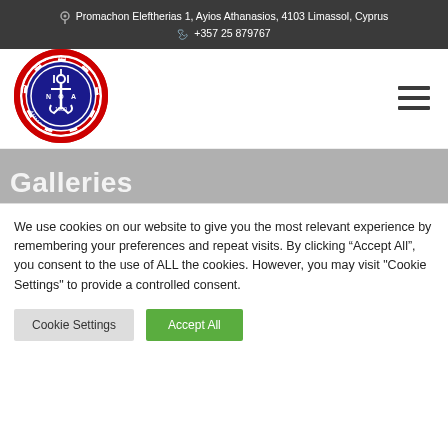Promachon Eleftherias 1, Ayios Athanasios, 4103 Limassol, Cyprus
+357 25 879767
[Figure (logo): Circular logo of Nautikos Omilos Ammochostou (NOA) - Greek maritime club crest with anchor and trident, year 1960, red and blue colors]
Galleries
We use cookies on our website to give you the most relevant experience by remembering your preferences and repeat visits. By clicking “Accept All”, you consent to the use of ALL the cookies. However, you may visit "Cookie Settings" to provide a controlled consent.